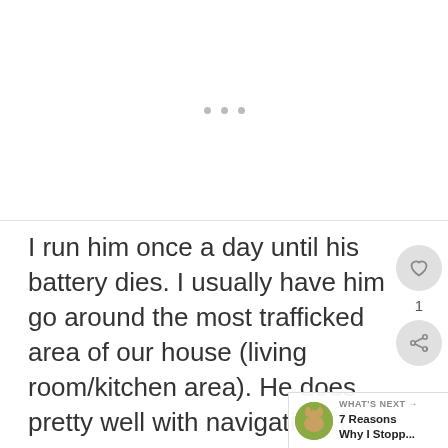[Figure (other): White blank area with three small gray dots centered, indicating a loading or carousel placeholder]
I run him once a day until his battery dies. I usually have him go around the most trafficked area of our house (living room/kitchen area). He does pretty well with navigating. I don't notice him favoring one side of the house over the other.